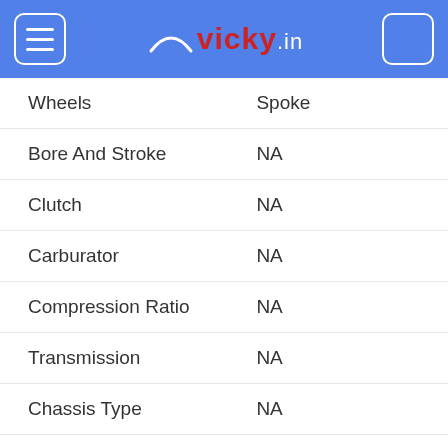vicky.in
| Specification | Value |
| --- | --- |
| Wheels | Spoke |
| Bore And Stroke | NA |
| Clutch | NA |
| Carburator | NA |
| Compression Ratio | NA |
| Transmission | NA |
| Chassis Type | NA |
| Wheel Base | 1370 |
| Kerb Weight | 182 |